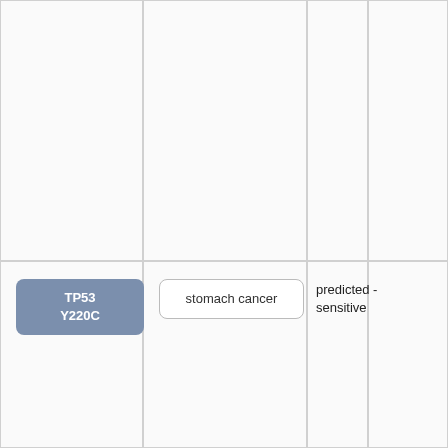|  |  |  |  |
| TP53 Y220C | stomach cancer | predicted - sensitive |  |